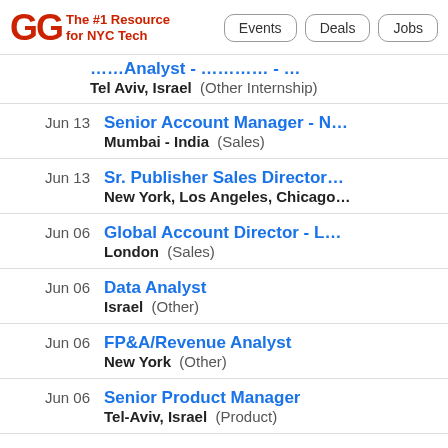GG The #1 Resource for NYC Tech | Events | Deals | Jobs
(truncated job title) - Tel Aviv, Israel (Other Internship)
Jun 13 - Senior Account Manager - [N...] - Mumbai - India (Sales)
Jun 13 - Sr. Publisher Sales Director - New York, Los Angeles, Chicago
Jun 06 - Global Account Director - L... - London (Sales)
Jun 06 - Data Analyst - Israel (Other)
Jun 06 - FP&A/Revenue Analyst - New York (Other)
Jun 06 - Senior Product Manager - Tel-Aviv, Israel (Product)